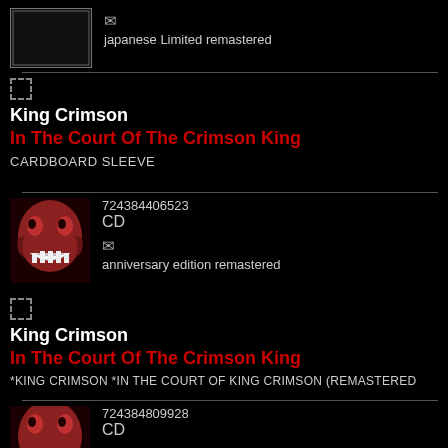[Figure (photo): Album cover thumbnail at top, partially visible, white/grey box]
japanese Limited remastered
King Crimson
In The Court Of The Crimson King
CARDBOARD SLEEVE
[Figure (photo): King Crimson - In The Court Of The Crimson King album cover artwork with screaming face]
724384406523
CD
anniversary edition remastered
King Crimson
In The Court Of The Crimson King
*KING CRIMSON *IN THE COURT OF KING CRIMSON (REMASTERED
[Figure (photo): King Crimson - In The Court Of The Crimson King album cover artwork, partial view]
724384809928
CD